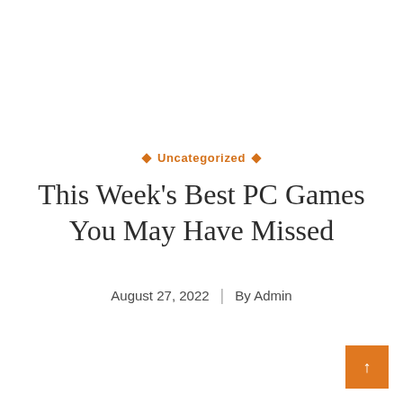Uncategorized
This Week's Best PC Games You May Have Missed
August 27, 2022  |  By Admin